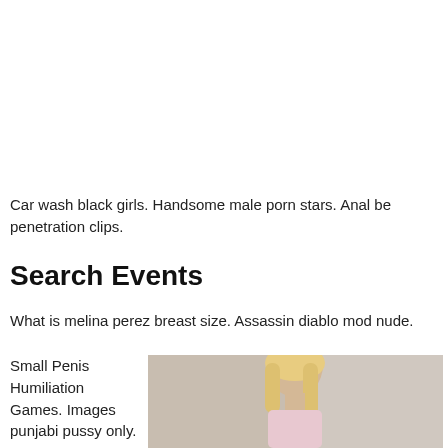Car wash black girls. Handsome male porn stars. Anal be penetration clips.
Search Events
What is melina perez breast size. Assassin diablo mod nude.
Small Penis Humiliation Games. Images punjabi pussy only.
[Figure (photo): A person with long blonde hair, photo cut off at bottom of page]